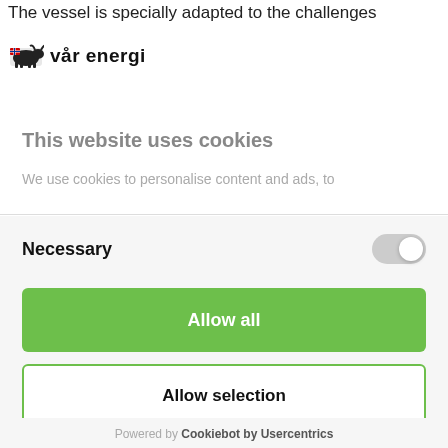The vessel is specially adapted to the challenges
[Figure (logo): Vår Energi logo with bull/animal icon and text 'vår energi']
This website uses cookies
We use cookies to personalise content and ads, to
Necessary
Allow all
Allow selection
Deny
Powered by Cookiebot by Usercentrics